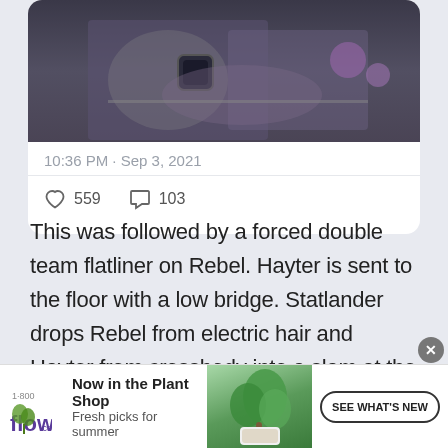[Figure (photo): Cropped photo showing a person's torso and arms with a watch, appears to be from a wrestling event with purple lighting]
10:36 PM · Sep 3, 2021
559 likes, 103 comments
This was followed by a forced double team flatliner on Rebel. Hayter is sent to the floor with a low bridge. Statlander drops Rebel from electric hair and Hayter from crossbody into a slam at the same
[Figure (advertisement): 1-800-flowers.com ad: Now in the Plant Shop, Fresh picks for summer, with plant image and SEE WHAT'S NEW button]